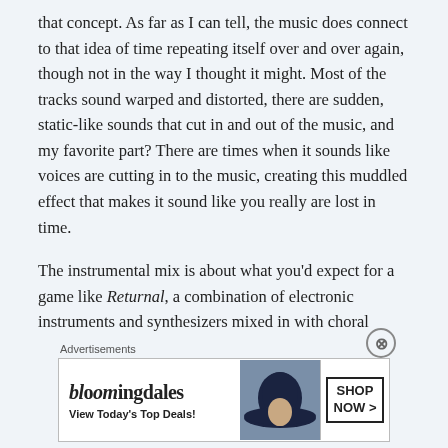that concept. As far as I can tell, the music does connect to that idea of time repeating itself over and over again, though not in the way I thought it might. Most of the tracks sound warped and distorted, there are sudden, static-like sounds that cut in and out of the music, and my favorite part? There are times when it sounds like voices are cutting in to the music, creating this muddled effect that makes it sound like you really are lost in time.
The instrumental mix is about what you'd expect for a game like Returnal, a combination of electronic instruments and synthesizers mixed in with choral voices. What really caught me by surprise though is how calm the music is for the most part. Given what I've heard about this game, I was expecting sci-fi music that was more action-oriented, or at least faster-paced. But
[Figure (other): Bloomingdale's advertisement banner with logo, 'View Today's Top Deals!' tagline, an image of a woman wearing a large brimmed hat, and a 'SHOP NOW >' button.]